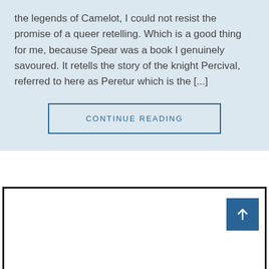the legends of Camelot, I could not resist the promise of a queer retelling. Which is a good thing for me, because Spear was a book I genuinely savoured. It retells the story of the knight Percival, referred to here as Peretur which is the [...]
CONTINUE READING
[Figure (other): A white box with a thick black border, containing a blue square button with an upward-pointing arrow icon in the top-right corner.]